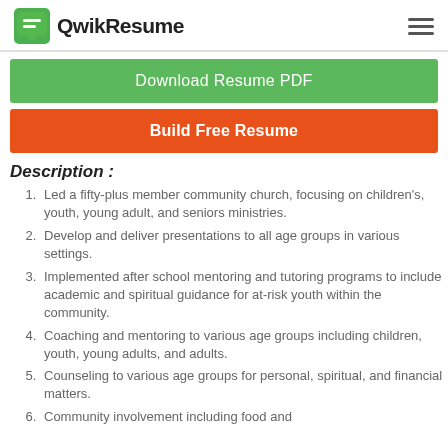QwikResume
Download Resume PDF
Build Free Resume
Description :
Led a fifty-plus member community church, focusing on children's, youth, young adult, and seniors ministries.
Develop and deliver presentations to all age groups in various settings.
Implemented after school mentoring and tutoring programs to include academic and spiritual guidance for at-risk youth within the community.
Coaching and mentoring to various age groups including children, youth, young adults, and adults.
Counseling to various age groups for personal, spiritual, and financial matters.
Community involvement including food and